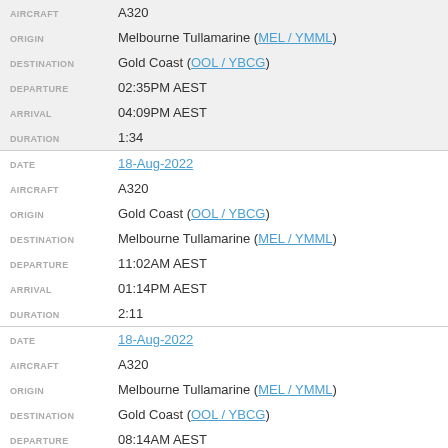| Field | Value |
| --- | --- |
| AIRCRAFT | A320 |
| ORIGIN | Melbourne Tullamarine (MEL / YMML) |
| DESTINATION | Gold Coast (OOL / YBCG) |
| DEPARTURE | 02:35PM AEST |
| ARRIVAL | 04:09PM AEST |
| DURATION | 1:34 |
| DATE | 18-Aug-2022 |
| AIRCRAFT | A320 |
| ORIGIN | Gold Coast (OOL / YBCG) |
| DESTINATION | Melbourne Tullamarine (MEL / YMML) |
| DEPARTURE | 11:02AM AEST |
| ARRIVAL | 01:14PM AEST |
| DURATION | 2:11 |
| DATE | 18-Aug-2022 |
| AIRCRAFT | A320 |
| ORIGIN | Melbourne Tullamarine (MEL / YMML) |
| DESTINATION | Gold Coast (OOL / YBCG) |
| DEPARTURE | 08:14AM AEST |
| ARRIVAL | 09:50AM AEST |
| DURATION | 1:36 |